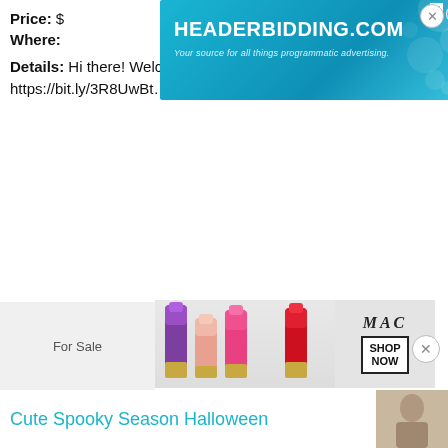Price: $
Where:
[Figure (screenshot): HEADERBIDDING.COM banner ad with teal gradient background, subtitle 'Your source for all things programmatic advertising.' and decorative dots pattern]
Details: Hi there! Welcome to my services: Link to my Service: https://bit.ly/3R8UwBt... Read More →
[Figure (screenshot): MAC cosmetics ad showing colorful lipsticks on left, MAC logo in italic serif font in center, and SHOP NOW box on right with a red lipstick]
For Sale
Cute Spooky Season Halloween